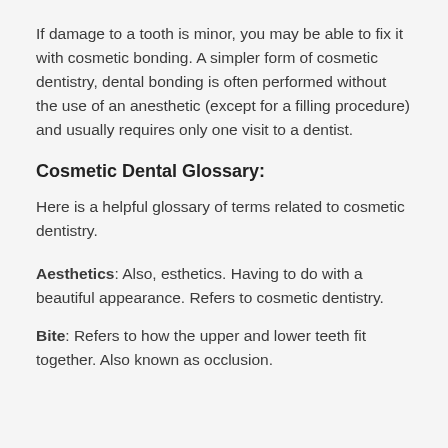If damage to a tooth is minor, you may be able to fix it with cosmetic bonding. A simpler form of cosmetic dentistry, dental bonding is often performed without the use of an anesthetic (except for a filling procedure) and usually requires only one visit to a dentist.
Cosmetic Dental Glossary:
Here is a helpful glossary of terms related to cosmetic dentistry.
Aesthetics: Also, esthetics. Having to do with a beautiful appearance. Refers to cosmetic dentistry.
Bite: Refers to how the upper and lower teeth fit together. Also known as occlusion.